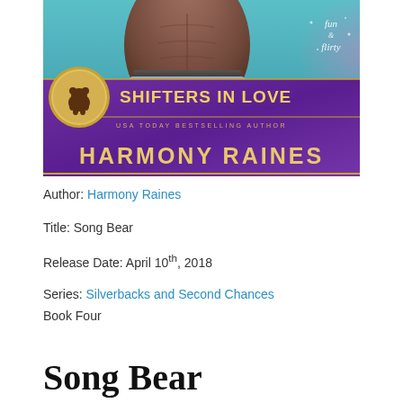[Figure (illustration): Book cover for 'Song Bear' by Harmony Raines. Shows a shirtless male torso against a teal/purple background. Purple banner reads 'SHIFTERS IN LOVE' in gold text. A bear silhouette in a gold circle is on the left. Text reads 'USA TODAY BESTSELLING AUTHOR HARMONY RAINES'. Fun & Flirty badge in top right corner.]
Author: Harmony Raines
Title: Song Bear
Release Date: April 10th, 2018
Series: Silverbacks and Second Chances
Book Four
Song Bear